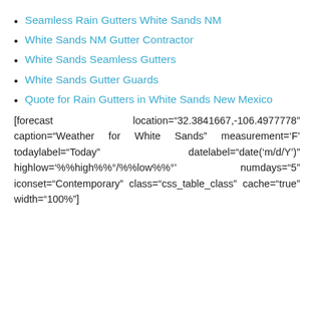Seamless Rain Gutters White Sands NM
White Sands NM Gutter Contractor
White Sands Seamless Gutters
White Sands Gutter Guards
Quote for Rain Gutters in White Sands New Mexico
[forecast location="32.3841667,-106.4977778" caption="Weather for White Sands" measurement='F' todaylabel="Today" datelabel="date('m/d/Y')" highlow='%%high%%°/%%low%%°' numdays="5" iconset="Contemporary" class="css_table_class" cache="true" width="100%"]